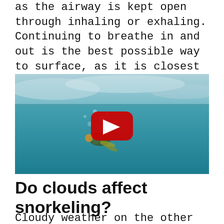as the airway is kept open through inhaling or exhaling. Continuing to breathe in and out is the best possible way to surface, as it is closest to a normal ascent. Ideally, you do not want your lungs to approach being either full or empty.
[Figure (screenshot): Underwater scene showing a snorkeler/diver beneath the water surface with bubbles, with a YouTube play button overlay indicating an embedded video.]
Do clouds affect snorkeling?
Cloudy weather on the other hand has little